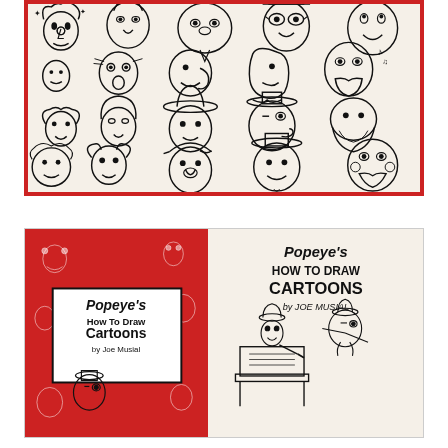[Figure (illustration): A page from a cartoon drawing book showing many cartoon character faces drawn in black ink on cream/off-white paper, surrounded by a red border. The faces include various expressive characters—men, women, bald heads, big noses, hats, and comedic expressions—likely from the Popeye universe.]
[Figure (photo): Two views of the book 'Popeye's How to Draw Cartoons by Joe Musial'. Left side shows the red front cover with white cartoon doodles and a white title box. Right side shows the interior title page with black and white cartoon illustrations of a character at a drawing desk.]